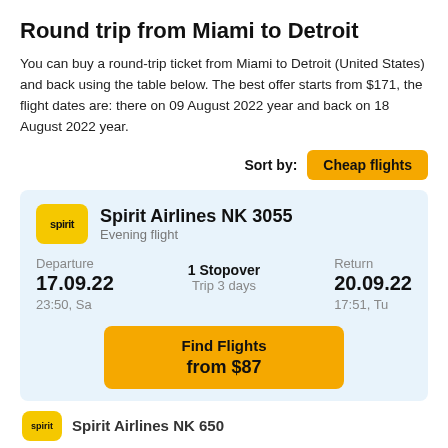Round trip from Miami to Detroit
You can buy a round-trip ticket from Miami to Detroit (United States) and back using the table below. The best offer starts from $171, the flight dates are: there on 09 August 2022 year and back on 18 August 2022 year.
Sort by: Cheap flights
Spirit Airlines NK 3055
Evening flight
Departure 17.09.22 23:50, Sa | 1 Stopover Trip 3 days | Return 20.09.22 17:51, Tu
Find Flights from $87
Spirit Airlines NK 650